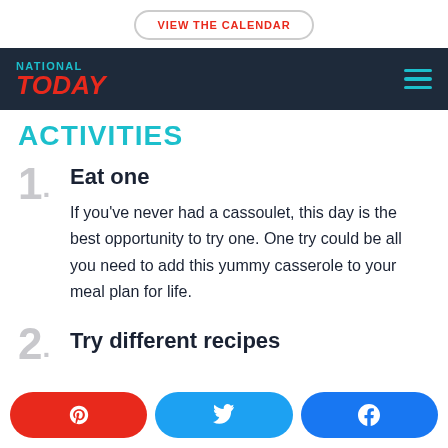VIEW THE CALENDAR
[Figure (logo): National Today logo with navigation bar]
ACTIVITIES
1. Eat one
If you've never had a cassoulet, this day is the best opportunity to try one. One try could be all you need to add this yummy casserole to your meal plan for life.
2. Try different recipes
Pinterest | Twitter | Facebook share buttons